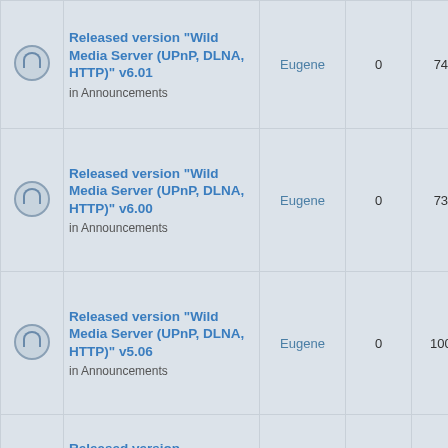|  | Topic | Author | Replies | Views | Last post |
| --- | --- | --- | --- | --- | --- |
| [icon] | Released version "Wild Media Server (UPnP, DLNA, HTTP)" v6.01
in Announcements | Eugene | 0 | 746 | Thu Feb 17, 2022 1:37 pm
Eugene |
| [icon] | Released version "Wild Media Server (UPnP, DLNA, HTTP)" v6.00
in Announcements | Eugene | 0 | 739 | Thu Feb 03, 2022 4:36 am
Eugene |
| [icon] | Released version "Wild Media Server (UPnP, DLNA, HTTP)" v5.06
in Announcements | Eugene | 0 | 1003 | Sun Dec 12, 2021 11:08 am
Eugene |
| [icon] | Released version... |  |  |  |  |